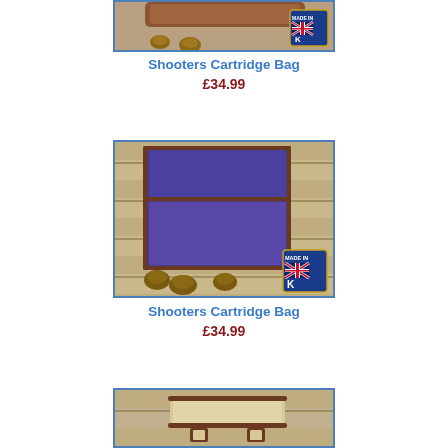[Figure (photo): Partial view of a brown leather Shooters Cartridge Bag with pine cones on wooden surface, with Made in UK badge]
Shooters Cartridge Bag
£34.99
[Figure (photo): Blue and brown leather Shooters Cartridge Bag with pine cones on wooden slat surface, with Made in UK badge]
Shooters Cartridge Bag
£34.99
[Figure (photo): Partial view of a cream and brown leather product on wooden slat surface]